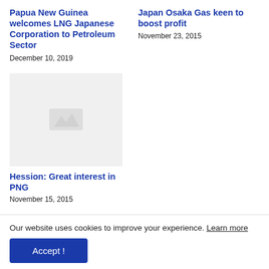Papua New Guinea welcomes LNG Japanese Corporation to Petroleum Sector
December 10, 2019
Japan Osaka Gas keen to boost profit
November 23, 2015
[Figure (photo): Placeholder thumbnail image (light grey background)]
Hession: Great interest in PNG
November 15, 2015
Our website uses cookies to improve your experience. Learn more
Accept !